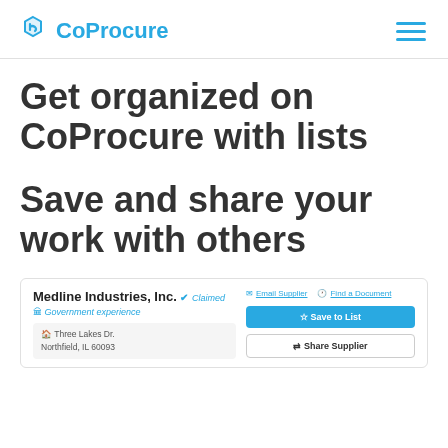CoProcure
Get organized on CoProcure with lists
Save and share your work with others
[Figure (screenshot): Supplier profile card for Medline Industries, Inc. showing a Claimed badge, Government experience tag, address at Three Lakes Dr., Northfield, IL 60093, with Email Supplier and Find a Document links, and Save to List and Share Supplier buttons.]